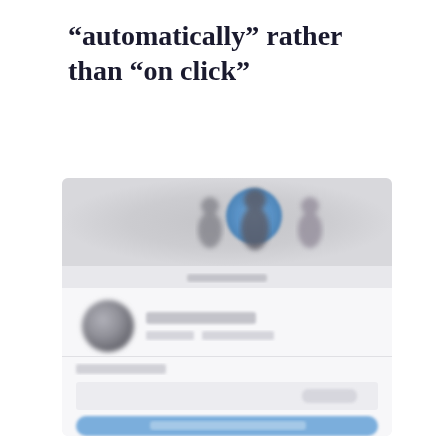“automatically” rather than “on click”
[Figure (screenshot): A blurred mobile app screenshot showing a profile page. The top area has a grey banner with three silhouette figures, the center one highlighted by a blue circle. Below the banner is a profile section with a grey avatar circle and blurred name/detail bars. There is a section label area, a light grey content row, and a blue rounded button bar at the bottom.]